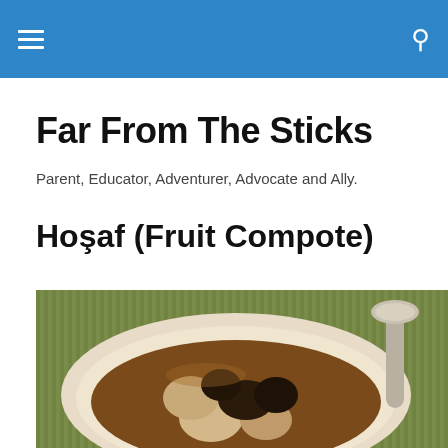Far From The Sticks
Parent, Educator, Adventurer, Advocate and Ally.
Hoşaf (Fruit Compote)
[Figure (photo): A white bowl containing fruit compote (hoşaf) with dark prunes and light-colored fruits in brown liquid, placed on a green striped surface with a metal spoon to the right.]